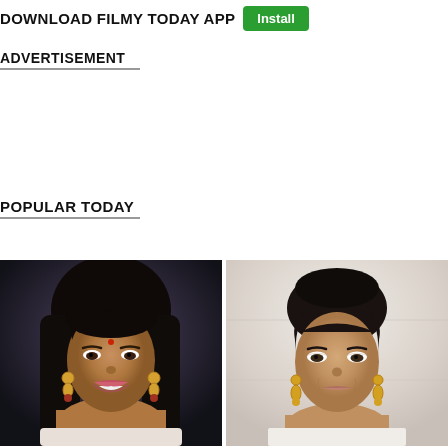DOWNLOAD FILMY TODAY APP  Install
ADVERTISEMENT
POPULAR TODAY
[Figure (photo): Smiling Indian actress with long dark hair, bindi on forehead, gold earrings, dark background]
[Figure (photo): Indian actress with hair tied back, gold earrings, light background, serious expression]